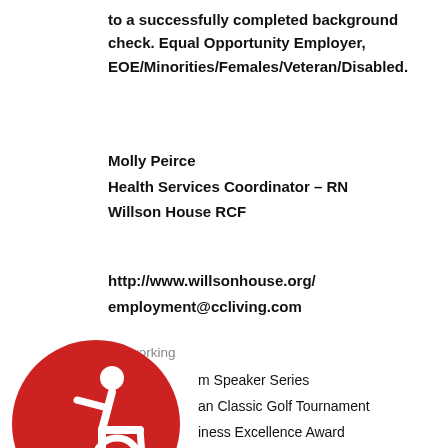to a successfully completed background check. Equal Opportunity Employer, EOE/Minorities/Females/Veteran/Disabled.
Molly Peirce
Health Services Coordinator – RN
Willson House RCF
http://www.willsonhouse.org/
employment@ccliving.com
Networking
m Speaker Series
an Classic Golf Tournament
iness Excellence Award
SAIF Agri-Business Banquet